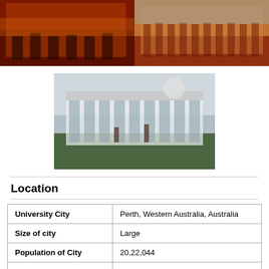[Figure (photo): Left photo: building illuminated in orange/red at night]
[Figure (photo): Right photo: large ornate brick building facade in daylight]
[Figure (photo): Center photo: large white classical university building with green lawn]
Location
| University City | Perth, Western Australia, Australia |
| Size of city | Large |
| Population of City | 20,22,044 |
| Wikipedia Link | https://en.wikipedia.org/wiki/Perth |